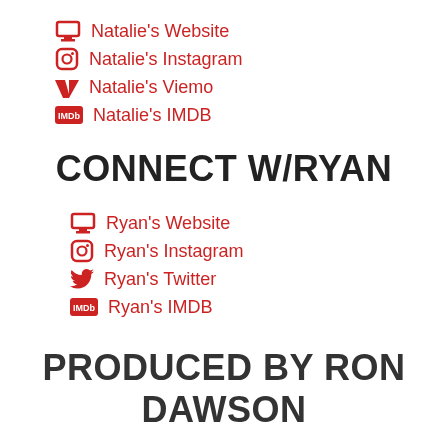Natalie's Website
Natalie's Instagram
Natalie's Viemo
Natalie's IMDB
CONNECT W/RYAN
Ryan's Website
Ryan's Instagram
Ryan's Twitter
Ryan's IMDB
PRODUCED BY RON DAWSON